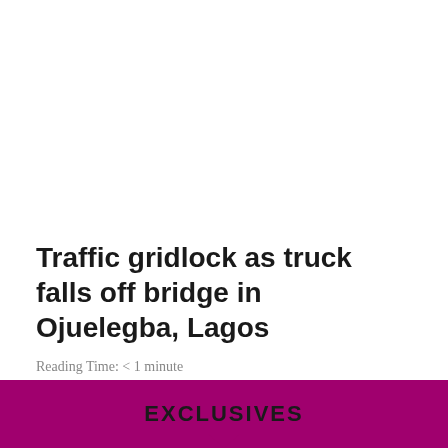Traffic gridlock as truck falls off bridge in Ojuelegba, Lagos
Reading Time: < 1 minute
A traffic gridlock has built up in some ...
Dede Ifayemi   May 7, 2019
EXCLUSIVES